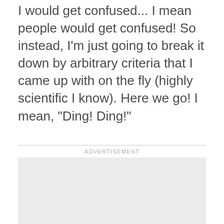I would get confused... I mean people would get confused! So instead, I'm just going to break it down by arbitrary criteria that I came up with on the fly (highly scientific I know). Here we go! I mean, "Ding! Ding!"
ADVERTISEMENT
[Figure (other): Empty light grey advertisement placeholder box]